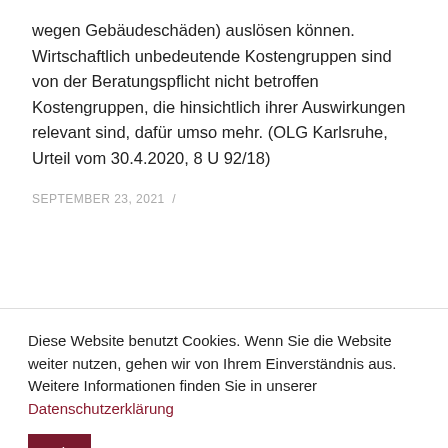wegen Gebäudeschäden) auslösen können. Wirtschaftlich unbedeutende Kostengruppen sind von der Beratungspflicht nicht betroffen Kostengruppen, die hinsichtlich ihrer Auswirkungen relevant sind, dafür umso mehr. (OLG Karlsruhe, Urteil vom 30.4.2020, 8 U 92/18)
SEPTEMBER 23, 2021 /
Diese Website benutzt Cookies. Wenn Sie die Website weiter nutzen, gehen wir von Ihrem Einverständnis aus. Weitere Informationen finden Sie in unserer Datenschutzerklärung